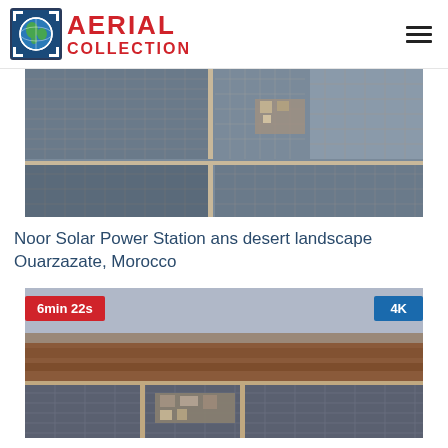AERIAL COLLECTION
[Figure (photo): Aerial view of Noor Solar Power Station with solar panels arranged in a grid pattern across desert landscape, Ouarzazate, Morocco]
Noor Solar Power Station ans desert landscape Ouarzazate, Morocco
[Figure (photo): Aerial view of Noor Solar Power Station from higher altitude showing desert landscape with solar panels and facility buildings, tagged 6min 22s and 4K]